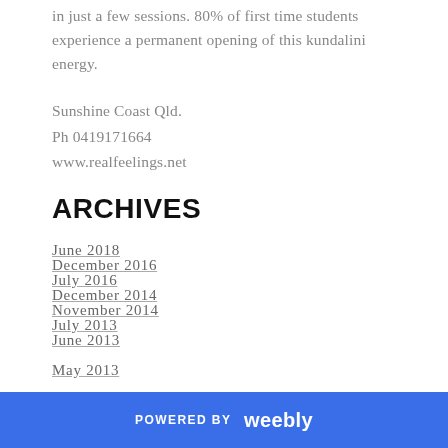in just a few sessions. 80% of first time students experience a permanent opening of this kundalini energy.
Sunshine Coast Qld.
Ph 0419171664
www.realfeelings.net
ARCHIVES
June 2018
December 2016
July 2016
December 2014
November 2014
July 2013
June 2013
May 2013
POWERED BY weebly